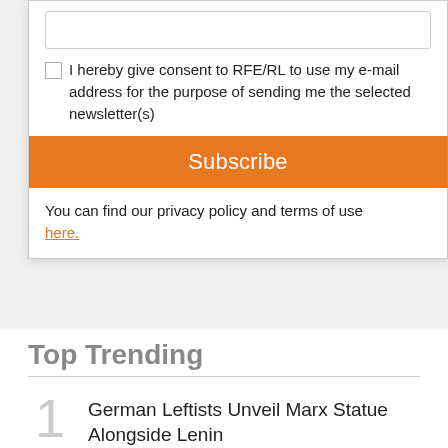I hereby give consent to RFE/RL to use my e-mail address for the purpose of sending me the selected newsletter(s)
Subscribe
You can find our privacy policy and terms of use here.
Top Trending
1 German Leftists Unveil Marx Statue Alongside Lenin